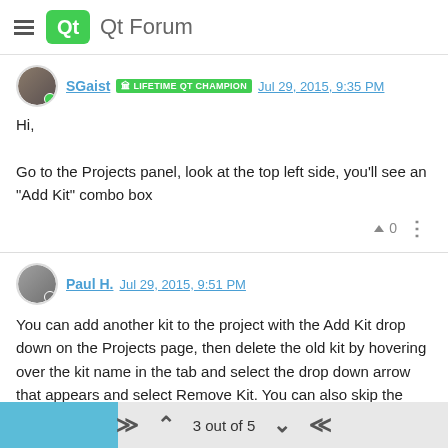Qt Forum
SGaist LIFETIME QT CHAMPION Jul 29, 2015, 9:35 PM
Hi,

Go to the Projects panel, look at the top left side, you'll see an "Add Kit" combo box
Paul H. Jul 29, 2015, 9:51 PM
You can add another kit to the project with the Add Kit drop down on the Projects page, then delete the old kit by hovering over the kit name in the tab and select the drop down arrow that appears and select Remove Kit. You can also skip the Add Kit step and select Change Kit from that drop down, but the build directory name won't change automatically to reflect the new kit name.
Paul
3 out of 5